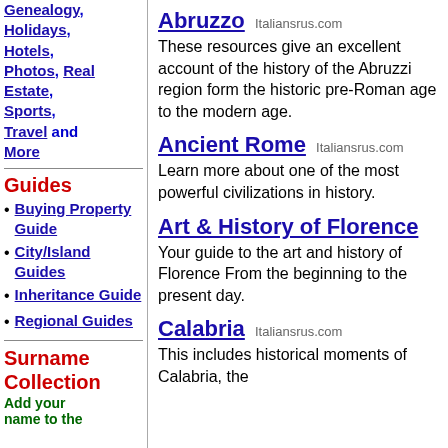Genealogy, Holidays, Hotels, Photos, Real Estate, Sports, Travel and More
Guides
Buying Property Guide
City/Island Guides
Inheritance Guide
Regional Guides
Surname Collection
Add your name to the
Abruzzo
Italiansrus.com
These resources give an excellent account of the history of the Abruzzi region form the historic pre-Roman age to the modern age.
Ancient Rome
Italiansrus.com
Learn more about one of the most powerful civilizations in history.
Art & History of Florence
Your guide to the art and history of Florence From the beginning to the present day.
Calabria
Italiansrus.com
This includes historical moments of Calabria, the